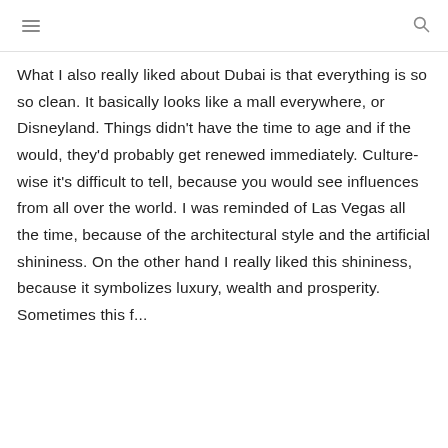What I also really liked about Dubai is that everything is so so clean. It basically looks like a mall everywhere, or Disneyland. Things didn't have the time to age and if the would, they'd probably get renewed immediately. Culture-wise it's difficult to tell, because you would see influences from all over the world. I was reminded of Las Vegas all the time, because of the architectural style and the artificial shininess. On the other hand I really liked this shininess, because it symbolizes luxury, wealth and prosperity. Sometimes this f...